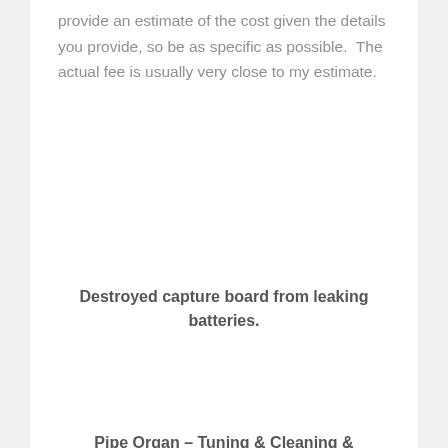provide an estimate of the cost given the details you provide, so be as specific as possible.  The actual fee is usually very close to my estimate.
Destroyed capture board from leaking batteries.
Pipe Organ – Tuning & Cleaning & Inspection: